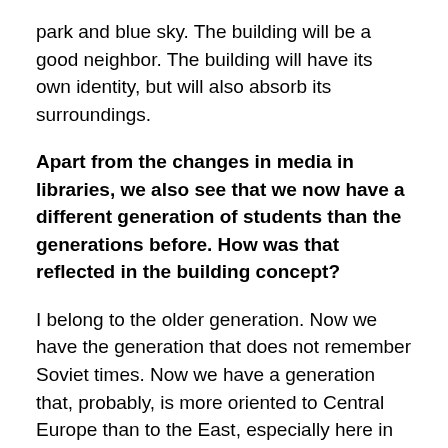park and blue sky. The building will be a good neighbor. The building will have its own identity, but will also absorb its surroundings.
Apart from the changes in media in libraries, we also see that we now have a different generation of students than the generations before. How was that reflected in the building concept?
I belong to the older generation. Now we have the generation that does not remember Soviet times. Now we have a generation that, probably, is more oriented to Central Europe than to the East, especially here in Lviv, in Western Ukraine. There are people from Ukraine, Romania, Bulgaria, Albania on my team. We have become very international. For my generation, it made a difference where you came from. For this